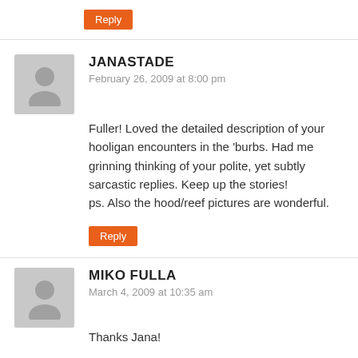Reply
JANASTADE
February 26, 2009 at 8:00 pm
Fuller! Loved the detailed description of your hooligan encounters in the 'burbs. Had me grinning thinking of your polite, yet subtly sarcastic replies. Keep up the stories! ps. Also the hood/reef pictures are wonderful.
Reply
MIKO FULLA
March 4, 2009 at 10:35 am
Thanks Jana!